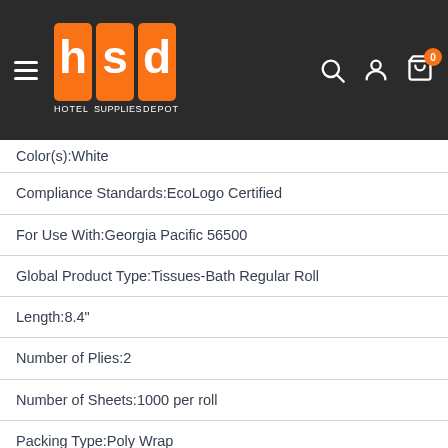HSD - Hotel Supplies Depot
Color(s):White
Compliance Standards:EcoLogo Certified
For Use With:Georgia Pacific 56500
Global Product Type:Tissues-Bath Regular Roll
Length:8.4"
Number of Plies:2
Number of Sheets:1000 per roll
Packing Type:Poly Wrap
Post-Consumer Recycled Content Percent:25%
Tissue Type:Toilet
Total Recycled Content Percent:95%
Width:5.25"